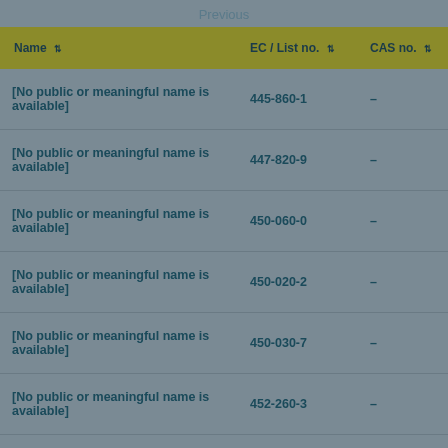Previous
| Name | EC / List no. | CAS no. |
| --- | --- | --- |
| [No public or meaningful name is available] | 445-860-1 | - |
| [No public or meaningful name is available] | 447-820-9 | - |
| [No public or meaningful name is available] | 450-060-0 | - |
| [No public or meaningful name is available] | 450-020-2 | - |
| [No public or meaningful name is available] | 450-030-7 | - |
| [No public or meaningful name is available] | 452-260-3 | - |
| [No public or meaningful name is available] | 452-240-4 | - |